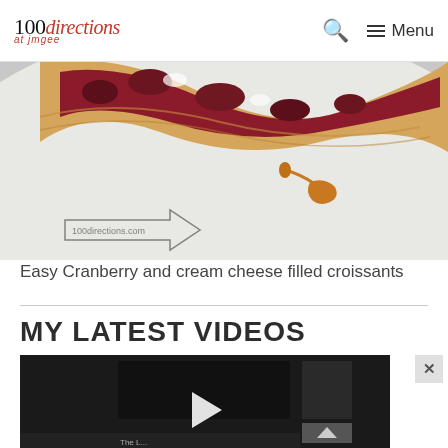100directions at jmgee — Search — Menu
[Figure (photo): Close-up photo of a cranberry and cream cheese filled croissant on a white plate with a drizzle of caramel sauce. Watermark reads '100directions.com' with an arrow logo.]
Easy Cranberry and cream cheese filled croissants
MY LATEST VIDEOS
[Figure (screenshot): Video player showing a dark background with a centered play button and video thumbnail. Shows partial video content at the bottom edge.]